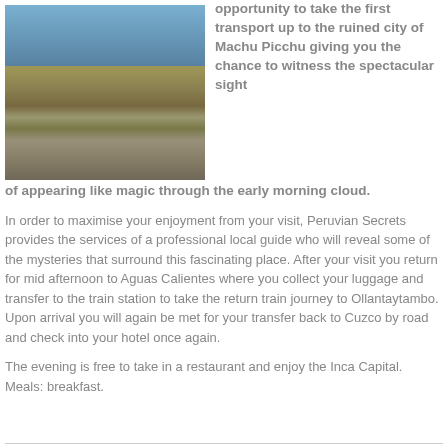[Figure (photo): Aerial view of Machu Picchu ruins with mountains and clouds in background]
opportunity to take the first transport up to the ruined city of Machu Picchu giving you the chance to witness the spectacular sight of appearing like magic through the early morning cloud.
In order to maximise your enjoyment from your visit, Peruvian Secrets provides the services of a professional local guide who will reveal some of the mysteries that surround this fascinating place. After your visit you return for mid afternoon to Aguas Calientes where you collect your luggage and transfer to the train station to take the return train journey to Ollantaytambo. Upon arrival you will again be met for your transfer back to Cuzco by road and check into your hotel once again.
The evening is free to take in a restaurant and enjoy the Inca Capital. Meals: breakfast.